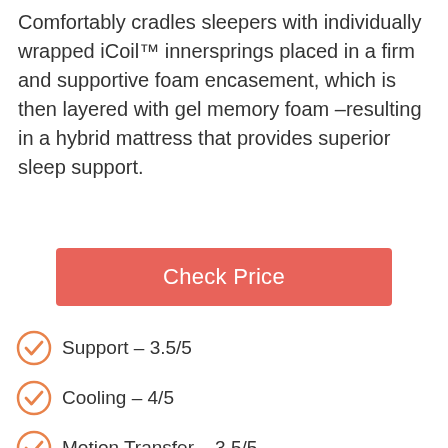Comfortably cradles sleepers with individually wrapped iCoil™ innersprings placed in a firm and supportive foam encasement, which is then layered with gel memory foam –resulting in a hybrid mattress that provides superior sleep support.
Check Price
Support – 3.5/5
Cooling – 4/5
Motion Transfer – 3.5/5
Durability – 3/5
Tick size – 3.5/5